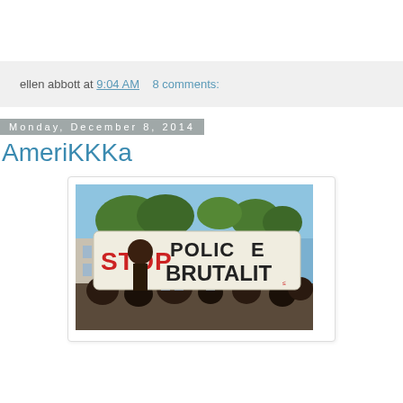ellen abbott at 9:04 AM    8 comments:
Monday, December 8, 2014
AmeriKKKa
[Figure (photo): Protest photo showing people holding a large banner reading 'STOP POLICE BRUTALITY' at an outdoor demonstration with trees and blue sky in background]